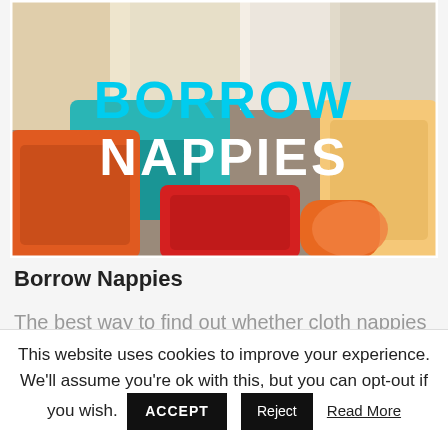[Figure (photo): Photo of colorful cloth nappies/diapers with text overlay reading 'BORROW NAPPIES' in cyan and white bold letters]
Borrow Nappies
The best way to find out whether cloth nappies will suit your baby and your lifestyle is to try them out. Our postal loans
This website uses cookies to improve your experience. We'll assume you're ok with this, but you can opt-out if you wish. ACCEPT Reject Read More